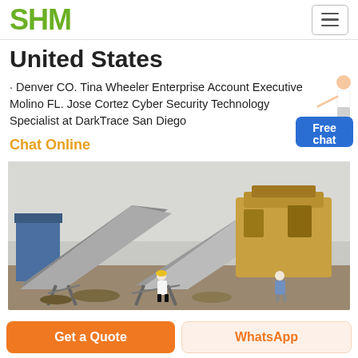SHM
United States
· Denver CO. Tina Wheeler Enterprise Account Executive Molino FL. Jose Cortez Cyber Security Technology Specialist at DarkTrace San Diego
Chat Online
[Figure (photo): Industrial mining or quarrying site with conveyor belts, heavy machinery, and two workers standing in the foreground amid rocky terrain.]
Get a Quote
WhatsApp